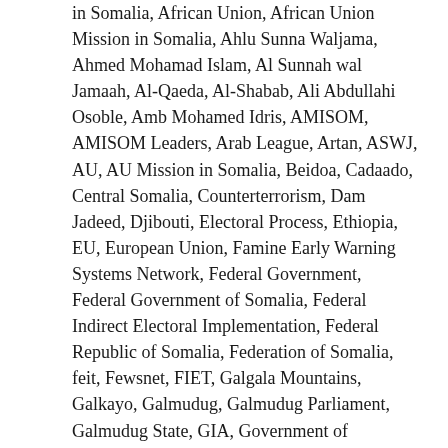in Somalia, African Union, African Union Mission in Somalia, Ahlu Sunna Waljama, Ahmed Mohamad Islam, Al Sunnah wal Jamaah, Al-Qaeda, Al-Shabab, Ali Abdullahi Osoble, Amb Mohamed Idris, AMISOM, AMISOM Leaders, Arab League, Artan, ASWJ, AU, AU Mission in Somalia, Beidoa, Cadaado, Central Somalia, Counterterrorism, Dam Jadeed, Djibouti, Electoral Process, Ethiopia, EU, European Union, Famine Early Warning Systems Network, Federal Government, Federal Government of Somalia, Federal Indirect Electoral Implementation, Federal Republic of Somalia, Federation of Somalia, feit, Fewsnet, FIET, Galgala Mountains, Galkayo, Galmudug, Galmudug Parliament, Galmudug State, GIA, Government of Galmudug, Government of Puntland, Government of Somalia, H.E. Mohamed Abduallahi Mohamed, Hassan Sheik Mohamoud, Hassan Sheik Mohamud, Hassan Sheikh Mohamud, HirShabelle, Horn of Africa, IEDRM, IGAD, IGAD Member States, Independent Electoral Disputes Resolution Mechanism, Intergovernmental Authority on Development, Interim South West Administration, International Community, ISWA, ISWA President